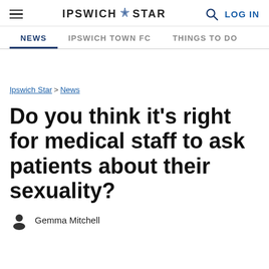IPSWICH STAR | LOG IN
NEWS | IPSWICH TOWN FC | THINGS TO DO
Ipswich Star > News
Do you think it’s right for medical staff to ask patients about their sexuality?
Gemma Mitchell